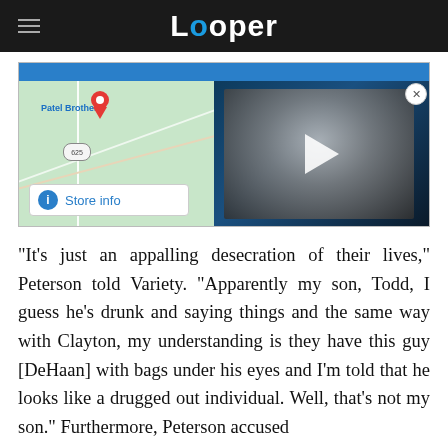Looper
[Figure (screenshot): Advertisement banner showing a Google Maps view with Patel Brothers store pin and route 625, a Store info button, and a video thumbnail of a horror movie character (Pinhead from Hellraiser) with a play button overlay.]
"It's just an appalling desecration of their lives," Peterson told Variety. "Apparently my son, Todd, I guess he's drunk and saying things and the same way with Clayton, my understanding is they have this guy [DeHaan] with bags under his eyes and I'm told that he looks like a drugged out individual. Well, that's not my son." Furthermore, Peterson accused